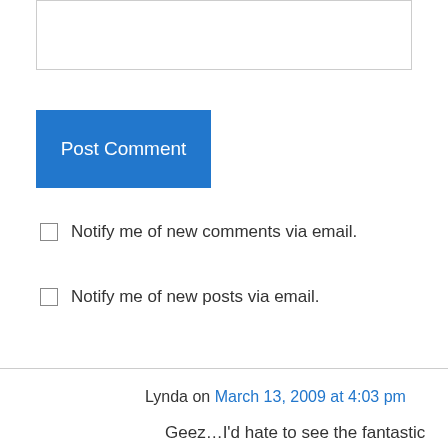[Figure (screenshot): Empty text input box with border]
Post Comment
Notify me of new comments via email.
Notify me of new posts via email.
Lynda on March 13, 2009 at 4:03 pm
Geez…I'd hate to see the fantastic wk you produce when u feel well!!!! Spectacular card…..Love the new colours…v v exciting…not long now…
Like
Reply